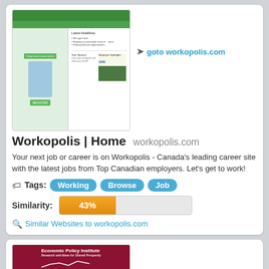[Figure (screenshot): Screenshot of Workopolis website homepage showing a job site with green navigation, a cartoon man in a suit, and job listings on the right.]
goto workopolis.com
Workopolis | Home workopolis.com
Your next job or career is on Workopolis - Canada's leading career site with the latest jobs from Top Canadian employers. Let's get to work!
Tags: Working Browse Job
Similarity: 43%
Similar Websites to workopolis.com
[Figure (screenshot): Screenshot of Economic Policy Institute website showing a red/maroon header with the organization name and a white line graph.]